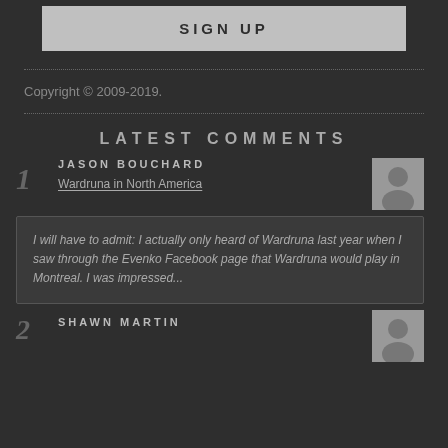SIGN UP
Copyright © 2009-2019.
LATEST COMMENTS
1 JASON BOUCHARD Wardruna in North America
I will have to admit: I actually only heard of Wardruna last year when I saw through the Evenko Facebook page that Wardruna would play in Montreal. I was impressed...
2 SHAWN MARTIN